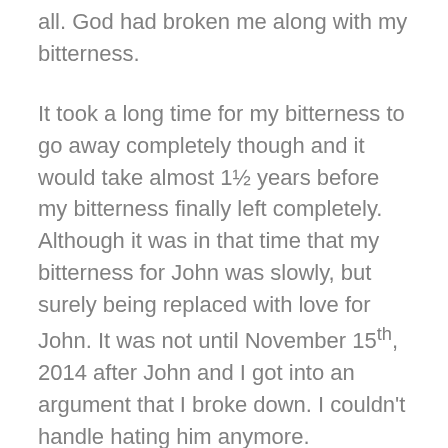all. God had broken me along with my bitterness.
It took a long time for my bitterness to go away completely though and it would take almost 1½ years before my bitterness finally left completely. Although it was in that time that my bitterness for John was slowly, but surely being replaced with love for John. It was not until November 15th, 2014 after John and I got into an argument that I broke down. I couldn't handle hating him anymore.
My only option was to love him at this point in